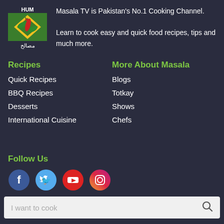[Figure (logo): Masala TV logo with HUM branding, green diamond shape with red chili pepper and leaves, Arabic text مصالح below]
Masala TV is Pakistan's No.1 Cooking Channel. Learn to cook easy and quick food recipes, tips and much more.
Recipes
Quick Recipes
BBQ Recipes
Desserts
International Cuisine
More About Masala
Blogs
Totkay
Shows
Chefs
Follow Us
[Figure (infographic): Social media icons: Facebook (blue circle with f), Twitter (light blue circle with bird), YouTube (red circle with play button), Instagram (pink/red circle with camera icon)]
I want to cook